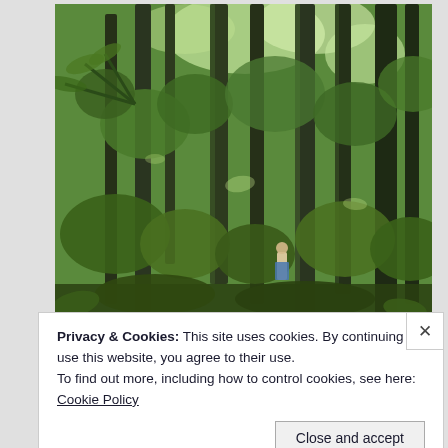[Figure (photo): Dense tropical rainforest with tall trees covered in vines, lush green canopy, filtered sunlight, and a person visible in the background center.]
Privacy & Cookies: This site uses cookies. By continuing to use this website, you agree to their use.
To find out more, including how to control cookies, see here: Cookie Policy
Close and accept